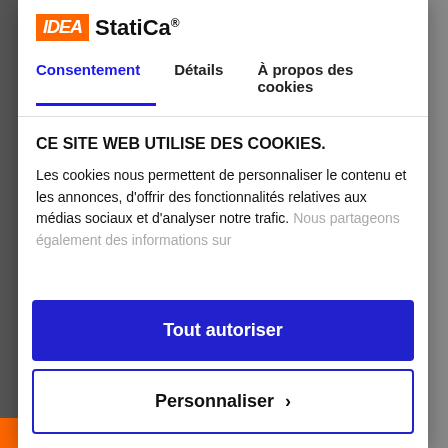[Figure (logo): IDEA StatiCa logo with orange parallelogram box and bold brand name]
Consentement	Détails	À propos des cookies
CE SITE WEB UTILISE DES COOKIES.
Les cookies nous permettent de personnaliser le contenu et les annonces, d'offrir des fonctionnalités relatives aux médias sociaux et d'analyser notre trafic. Nous partageons également des informations sur
Tout autoriser
Personnaliser >